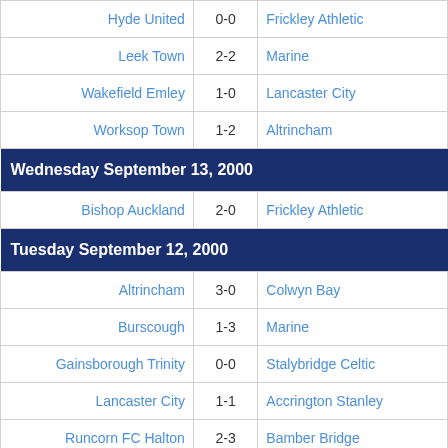| Home | Score | Away |
| --- | --- | --- |
| Hyde United | 0-0 | Frickley Athletic |
| Leek Town | 2-2 | Marine |
| Wakefield Emley | 1-0 | Lancaster City |
| Worksop Town | 1-2 | Altrincham |
| Wednesday September 13, 2000 |  |  |
| Bishop Auckland | 2-0 | Frickley Athletic |
| Tuesday September 12, 2000 |  |  |
| Altrincham | 3-0 | Colwyn Bay |
| Burscough | 1-3 | Marine |
| Gainsborough Trinity | 0-0 | Stalybridge Celtic |
| Lancaster City | 1-1 | Accrington Stanley |
| Runcorn FC Halton | 2-3 | Bamber Bridge |
| Spennymoor United | 1-2 | Blyth Spartans |